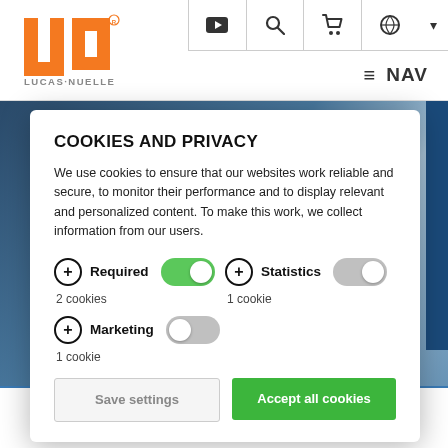[Figure (logo): Lucas-Nuelle orange LN logo with LUCAS·NUELLE text below]
COOKIES AND PRIVACY
We use cookies to ensure that our websites work reliable and secure, to monitor their performance and to display relevant and personalized content. To make this work, we collect information from our users.
Required — 2 cookies (toggle on); Statistics — 1 cookie (toggle off); Marketing — 1 cookie (toggle off)
Save settings
Accept all cookies
ET HS Professional Photovoltaics Trainer (PV)